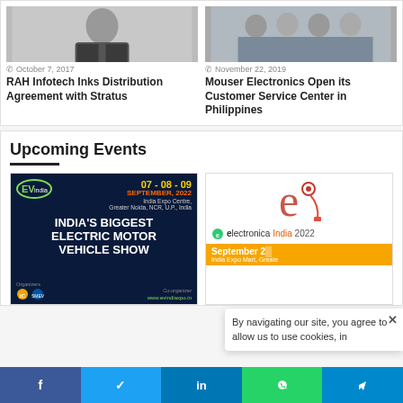[Figure (photo): Man in dark suit, headshot/portrait photo]
October 7, 2017
RAH Infotech Inks Distribution Agreement with Stratus
[Figure (photo): Group of people standing, team photo]
November 22, 2019
Mouser Electronics Open its Customer Service Center in Philippines
Upcoming Events
[Figure (illustration): EV India Expo banner: 07-08-09 September 2022, India Expo Centre, Greater Noida, NCR, U.P., India. India's Biggest Electric Motor Vehicle Show. www.evindiaxpo.in]
[Figure (illustration): Electronica India 2022 banner: September 2X, India Expo Mart, Greater Noida]
By navigating our site, you agree to allow us to use cookies, in